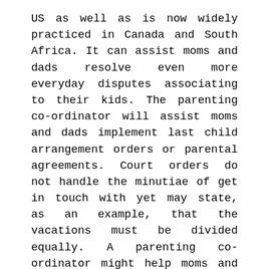US as well as is now widely practiced in Canada and South Africa. It can assist moms and dads resolve even more everyday disputes associating to their kids. The parenting co-ordinator will assist moms and dads implement last child arrangement orders or parental agreements. Court orders do not handle the minutiae of get in touch with yet may state, as an example, that the vacations must be divided equally. A parenting co-ordinator might help moms and dads who can not concur on dates or concerning details for handover. If an agreement can not be moderated the parenting co-ordinator would make a binding decision to identify the dispute.